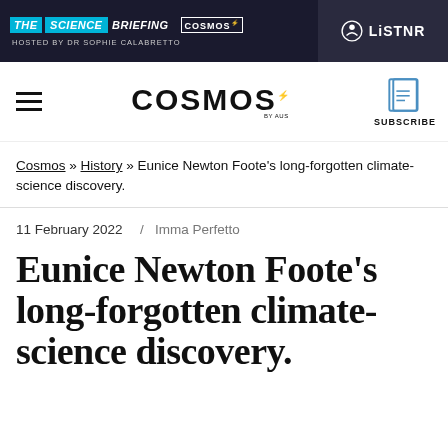[Figure (logo): The Science Briefing banner with Cosmos and LiSTNR logos, hosted by Dr Sophie Calabretto]
[Figure (logo): Cosmos magazine logo with hamburger menu and Subscribe button]
Cosmos » History » Eunice Newton Foote's long-forgotten climate-science discovery.
11 February 2022 / Imma Perfetto
Eunice Newton Foote's long-forgotten climate-science discovery.